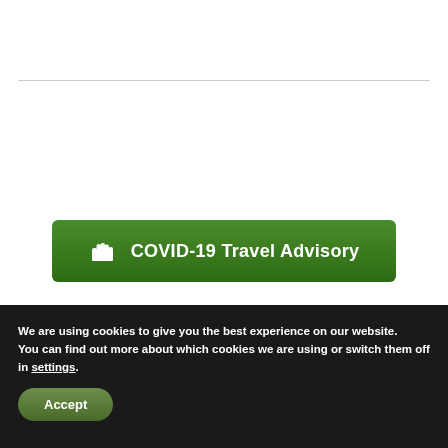[Figure (other): White top section with a horizontal divider line and a green COVID-19 Travel Advisory button with a glove/hand icon]
We are using cookies to give you the best experience on our website.
You can find out more about which cookies we are using or switch them off in settings.
Accept